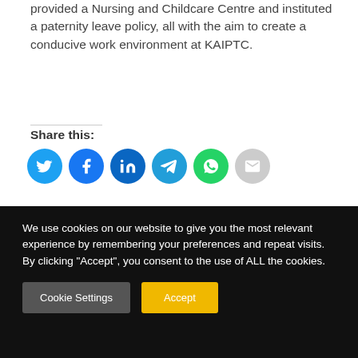provided a Nursing and Childcare Centre and instituted a paternity leave policy, all with the aim to create a conducive work environment at KAIPTC.
Share this:
[Figure (infographic): Social share buttons: Twitter (blue), Facebook (blue), LinkedIn (dark blue), Telegram (light blue), WhatsApp (green), Email (grey)]
Related
We use cookies on our website to give you the most relevant experience by remembering your preferences and repeat visits. By clicking “Accept”, you consent to the use of ALL the cookies.
Cookie Settings | Accept